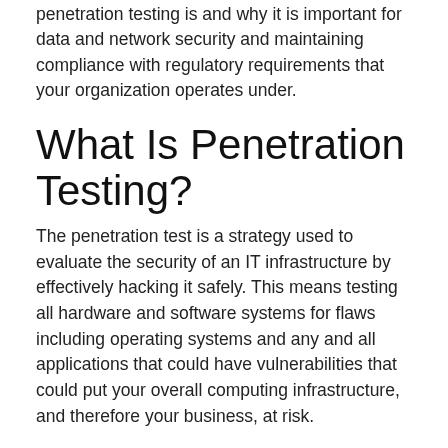penetration testing is and why it is important for data and network security and maintaining compliance with regulatory requirements that your organization operates under.
What Is Penetration Testing?
The penetration test is a strategy used to evaluate the security of an IT infrastructure by effectively hacking it safely. This means testing all hardware and software systems for flaws including operating systems and any and all applications that could have vulnerabilities that could put your overall computing infrastructure, and therefore your business, at risk.
That is the big issue, managing risk. You see, the more you rely on digital tools for business management, operational efficiency, production, and support, the more apt one of those pieces of software will be able to be exploited by people looking to hack your business or steal resources from your organization. Penetration testing effectively shows you the holes that you need to patch to ensure that you don't have to deal with the hindrance and runaway costs that typically accompany a security breach or malware attack.
One of the keys to performing a useful pen test is to have cyber